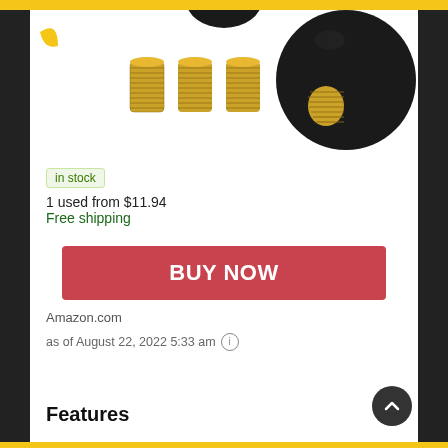[Figure (photo): Product image showing three gold-colored threaded brass inserts on the left, and a black ball gear shift knob with a gold threaded insert hole on the right. A partial black ball and partial yellow crescent logo visible at the top.]
in stock
1 used from $11.94
Free shipping
BUY NOW
Amazon.com
as of August 22, 2022 5:33 am ℹ
Features